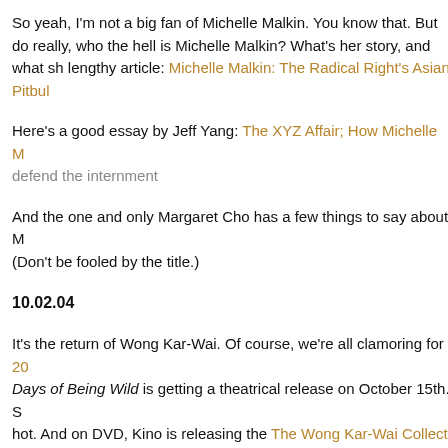So yeah, I'm not a big fan of Michelle Malkin. You know that. But do really, who the hell is Michelle Malkin? What's her story, and what sh lengthy article: Michelle Malkin: The Radical Right's Asian Pitbul
Here's a good essay by Jeff Yang: The XYZ Affair; How Michelle M defend the internment
And the one and only Margaret Cho has a few things to say about M (Don't be fooled by the title.)
10.02.04
It's the return of Wong Kar-Wai. Of course, we're all clamoring for 20 Days of Being Wild is getting a theatrical release on October 15th. S hot. And on DVD, Kino is releasing the The Wong Kar-Wai Collecti
And there's this piece of news: Nicole Kidman is The Lady From S which, considering his work style, will probably see fruition, oh, in 20 Kitano is also attached to the project. Then again, there were once a believe the hype.